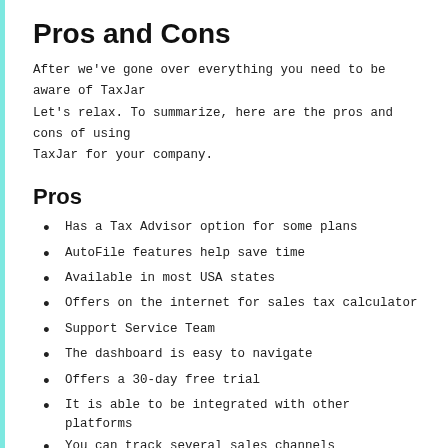Pros and Cons
After we've gone over everything you need to be aware of TaxJar Let's relax. To summarize, here are the pros and cons of using TaxJar for your company.
Pros
Has a Tax Advisor option for some plans
AutoFile features help save time
Available in most USA states
Offers on the internet for sales tax calculator
Support Service Team
The dashboard is easy to navigate
Offers a 30-day free trial
It is able to be integrated with other platforms
You can track several sales channels